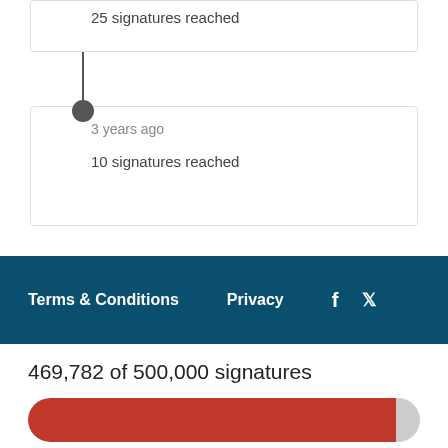25 signatures reached
3 years ago
10 signatures reached
Terms & Conditions   Privacy   f   (twitter bird)
469,782 of 500,000 signatures
[Figure (infographic): Progress bar showing 469,782 of 500,000 signatures, approximately 94% filled in red]
SIGN